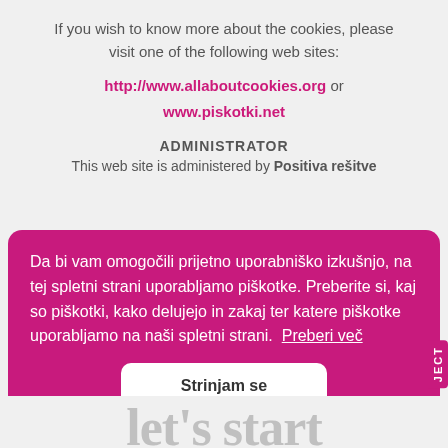If you wish to know more about the cookies, please visit one of the following web sites:
http://www.allaboutcookies.org or www.piskotki.net
ADMINISTRATOR
This web site is administered by Positiva rešitve
Da bi vam omogočili prijetno uporabniško izkušnjo, na tej spletni strani uporabljamo piškotke. Preberite si, kaj so piškotki, kako delujejo in zakaj ter katere piškotke uporabljamo na naši spletni strani.  Preberi več
Strinjam se
let's start